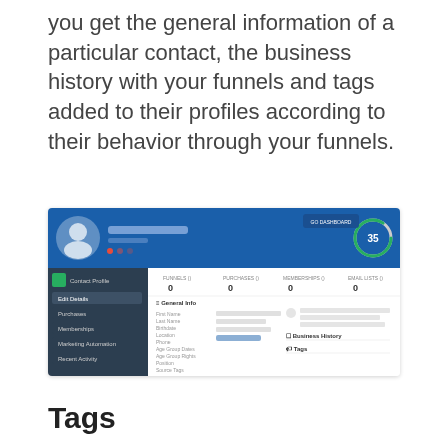you get the general information of a particular contact, the business history with your funnels and tags added to their profiles according to their behavior through your funnels.
[Figure (screenshot): Screenshot of a contact profile page in a funnel/CRM application. Shows a blue header bar with a user avatar icon and a name (blurred), a circular progress indicator with '35', navigation menu items (Edit Details, Purchases, Memberships, Marketing Automation, Recent Activity), stats (FUNNELS: 0, PURCHASES: 0, MEMBERSHIPS: 0, EMAIL LISTS: 0), General Info section, Business History section, and Tags section.]
Tags
If you haven't worked with Tags before you should start right away! Tags enable you to create and send